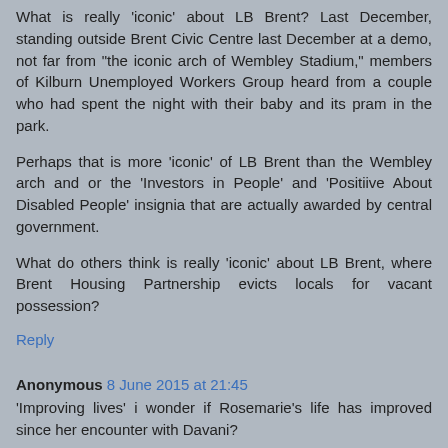What is really 'iconic' about LB Brent? Last December, standing outside Brent Civic Centre last December at a demo, not far from "the iconic arch of Wembley Stadium," members of Kilburn Unemployed Workers Group heard from a couple who had spent the night with their baby and its pram in the park.
Perhaps that is more 'iconic' of LB Brent than the Wembley arch and or the 'Investors in People' and 'Positiive About Disabled People' insignia that are actually awarded by central government.
What do others think is really 'iconic' about LB Brent, where Brent Housing Partnership evicts locals for vacant possession?
Reply
Anonymous 8 June 2015 at 21:45
'Improving lives' i wonder if Rosemarie's life has improved since her encounter with Davani?